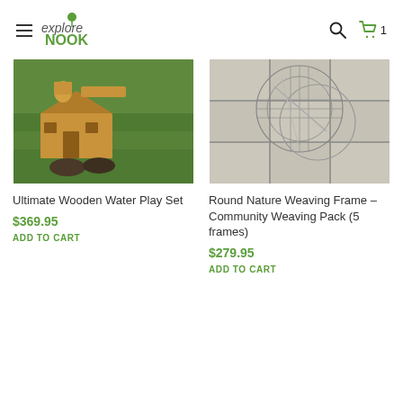explore NOOK — navigation header with hamburger menu, search icon, and cart (1 item)
[Figure (photo): Wooden water play set pieces on grass with two dark bowl-shaped objects]
Ultimate Wooden Water Play Set
$369.95
ADD TO CART
[Figure (photo): Round wire/mesh weaving frames stacked on tiled ground]
Round Nature Weaving Frame – Community Weaving Pack (5 frames)
$279.95
ADD TO CART